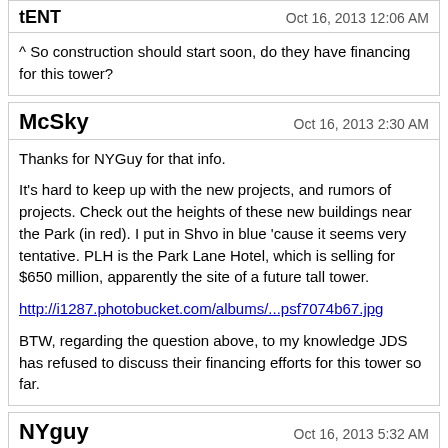tENT — Oct 16, 2013 12:06 AM
^ So construction should start soon, do they have financing for this tower?
McSky — Oct 16, 2013 2:30 AM
Thanks for NYGuy for that info.

It's hard to keep up with the new projects, and rumors of projects. Check out the heights of these new buildings near the Park (in red). I put in Shvo in blue 'cause it seems very tentative. PLH is the Park Lane Hotel, which is selling for $650 million, apparently the site of a future tall tower.

http://i1287.photobucket.com/albums/...psf7074b67.jpg

BTW, regarding the question above, to my knowledge JDS has refused to discuss their financing efforts for this tower so far.
NYguy — Oct 16, 2013 5:32 AM
Work on the tower is not supposed to begin until next year.
superMike